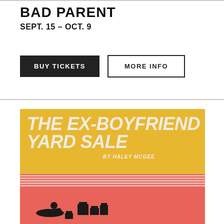BAD PARENT
SEPT. 15 – OCT. 9
BUY TICKETS
MORE INFO
[Figure (illustration): Poster for 'The Ex-Boyfriend Yard Sale by Haley McGee'. Yellow top half with large italic white text reading 'THE EX-BOYFRIEND YARD SALE BY HALEY MCGEE', pink/red striped middle section, red lower section with silhouettes of a person lying down among boxes and items.]